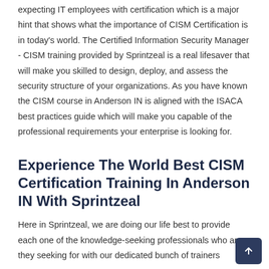expecting IT employees with certification which is a major hint that shows what the importance of CISM Certification is in today's world. The Certified Information Security Manager - CISM training provided by Sprintzeal is a real lifesaver that will make you skilled to design, deploy, and assess the security structure of your organizations. As you have known the CISM course in Anderson IN is aligned with the ISACA best practices guide which will make you capable of the professional requirements your enterprise is looking for.
Experience The World Best CISM Certification Training In Anderson IN With Sprintzeal
Here in Sprintzeal, we are doing our life best to provide each one of the knowledge-seeking professionals who are they seeking for with our dedicated bunch of trainers